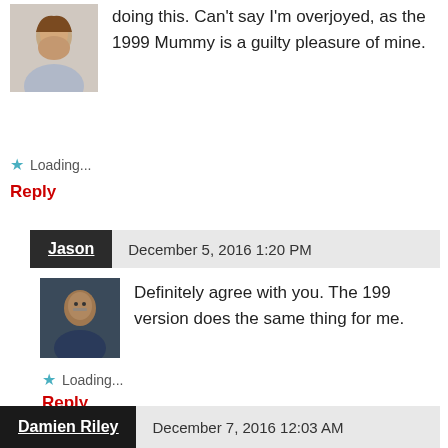doing this. Can't say I'm overjoyed, as the 1999 Mummy is a guilty pleasure of mine.
★ Loading...
Reply
Jason  December 5, 2016 1:20 PM
Definitely agree with you. The 199 version does the same thing for me.
★ Loading...
Reply
Damien Riley  December 7, 2016 12:03 AM